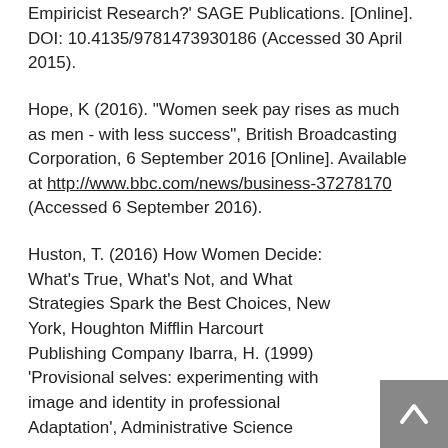Empiricist Research?' SAGE Publications. [Online]. DOI: 10.4135/9781473930186 (Accessed 30 April 2015).
Hope, K (2016). "Women seek pay rises as much as men - with less success", British Broadcasting Corporation, 6 September 2016 [Online]. Available at http://www.bbc.com/news/business-37278170 (Accessed 6 September 2016).
Huston, T. (2016) How Women Decide: What's True, What's Not, and What Strategies Spark the Best Choices, New York, Houghton Mifflin Harcourt Publishing Company Ibarra, H. (1999) 'Provisional selves: experimenting with image and identity in professional Adaptation', Administrative Science